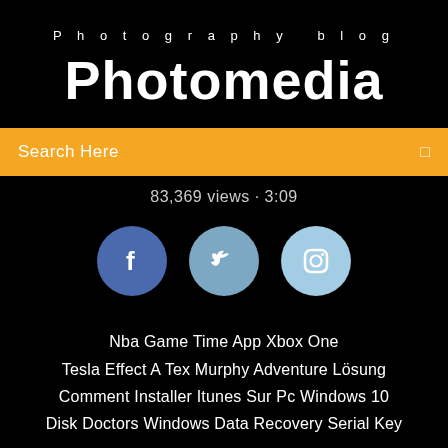Photography blog
Photomedia
Search Here
83,369 views · 3:09
[Figure (other): Three circular social media icons: Facebook (blue), Twitter (light blue), Instagram (lighter blue)]
Nba Game Time App Xbox One
Tesla Effect A Tex Murphy Adventure Lösung
Comment Installer Itunes Sur Pc Windows 10
Disk Doctors Windows Data Recovery Serial Key